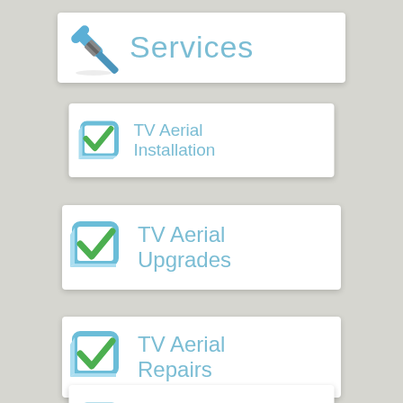[Figure (infographic): Services banner card with wrench and screwdriver icon in blue, text 'Services' in light blue]
[Figure (infographic): TV Aerial Installation card with blue checkbox icon with green checkmark]
[Figure (infographic): TV Aerial Upgrades card with blue checkbox icon with green checkmark]
[Figure (infographic): TV Aerial Repairs card with blue checkbox icon with green checkmark]
[Figure (infographic): Partially visible card at bottom, likely another TV service item]